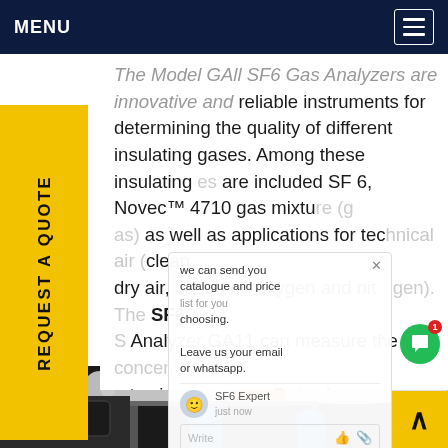MENU
The Model GAll SF6 Gas Analyzers are innovative and reliable instruments for determining the quality of different insulating gases. Among these insulating gases are included SF 6, Novec™ 4710 gas mixture (g as) as well as applications for technical air (clean dry air, based on oxygen and nitrogen). The SF6 Gas Analyzer GA11 can measure the concentrations up to six parametersGet price
[Figure (screenshot): Chat popup overlay showing message: 'we can send you catalogue and price list for you choosing. Leave us your email or whatsapp.' with SF6 Expert agent and write bar, plus green chat bubble icon with badge showing 1]
[Figure (photo): Industrial photo showing large white industrial gas equipment/cylinders with orange and teal stripes, two workers in blue uniforms and blue helmets working on the equipment, dark background]
REQUEST A QUOTE